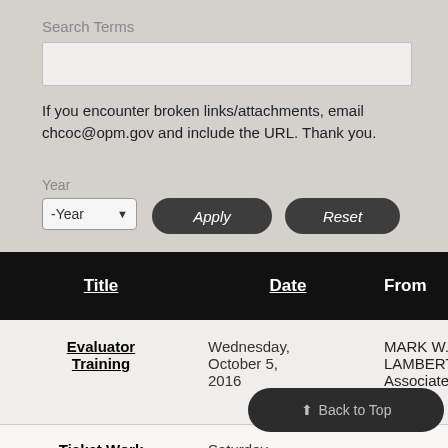Search Terms
If you encounter broken links/attachments, email chcoc@opm.gov and include the URL. Thank you.
Year
-Year  Apply  Reset
| Title | Date | From | Pri |
| --- | --- | --- | --- |
| Evaluator Training | Wednesday, October 5, 2016 | MARK W. LAMBERT Associate Director |  |
| Ticket Work | Saturday, April 3, 2004 |  |  |